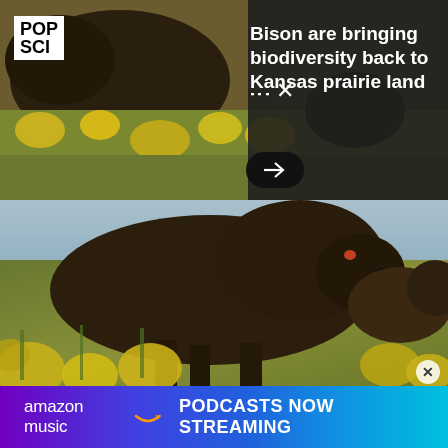[Figure (photo): Bison standing in yellow wildflowers on Kansas prairie, top portion of image with dark overlay on right side containing headline]
Bison are bringing biodiversity back to Kansas prairie land
[Figure (photo): Close-up photograph of a bison standing among yellow wildflowers and green prairie grasses, with another bison visible in the background on the right]
[Figure (infographic): Amazon Music advertisement banner with text 'amazon music PODCASTS NOW STREAMING' on colorful gradient background]